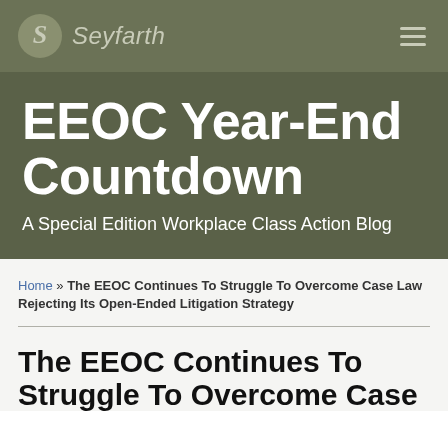[Figure (logo): Seyfarth law firm logo with stylized S icon and firm name in italic]
EEOC Year-End Countdown
A Special Edition Workplace Class Action Blog
Home » The EEOC Continues To Struggle To Overcome Case Law Rejecting Its Open-Ended Litigation Strategy
The EEOC Continues To Struggle To Overcome Case